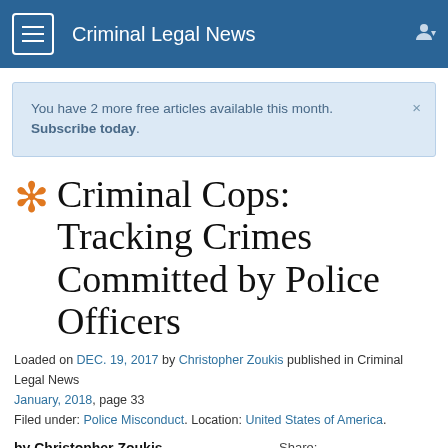Criminal Legal News
You have 2 more free articles available this month. Subscribe today.
Criminal Cops: Tracking Crimes Committed by Police Officers
Loaded on DEC. 19, 2017 by Christopher Zoukis published in Criminal Legal News January, 2018, page 33
Filed under: Police Misconduct. Location: United States of America.
by Christopher Zoukis
Police officers are sworn to uphold the law. When the uniform goes on, they become arbiters and enforcers of right and wrong. But a new police crime database
[Figure (infographic): Share buttons: Twitter, Facebook, Google+, Email]